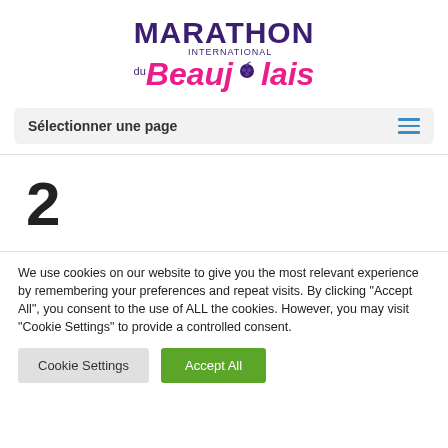[Figure (logo): Marathon International du Beaujolais logo with purple and pink text and grape icon]
Sélectionner une page
2
We use cookies on our website to give you the most relevant experience by remembering your preferences and repeat visits. By clicking "Accept All", you consent to the use of ALL the cookies. However, you may visit "Cookie Settings" to provide a controlled consent.